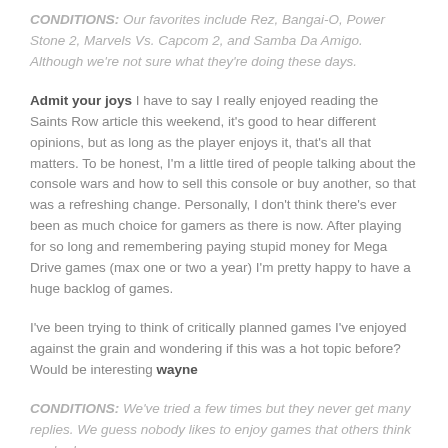CONDITIONS: Our favorites include Rez, Bangai-O, Power Stone 2, Marvels Vs. Capcom 2, and Samba Da Amigo. Although we're not sure what they're doing these days.
Admit your joys I have to say I really enjoyed reading the Saints Row article this weekend, it's good to hear different opinions, but as long as the player enjoys it, that's all that matters. To be honest, I'm a little tired of people talking about the console wars and how to sell this console or buy another, so that was a refreshing change. Personally, I don't think there's ever been as much choice for gamers as there is now. After playing for so long and remembering paying stupid money for Mega Drive games (max one or two a year) I'm pretty happy to have a huge backlog of games.
I've been trying to think of critically planned games I've enjoyed against the grain and wondering if this was a hot topic before? Would be interesting wayne
CONDITIONS: We've tried a few times but they never get many replies. We guess nobody likes to enjoy games that others think are bad.